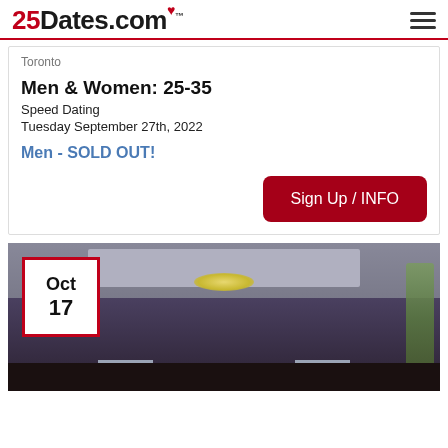25Dates.com
Toronto
Men & Women: 25-35
Speed Dating
Tuesday September 27th, 2022
Men - SOLD OUT!
Sign Up / INFO
[Figure (photo): Interior of a bar/restaurant with ceiling lights, chandelier, windows, dark wood paneling, and a date badge showing Oct 17 in the top left corner]